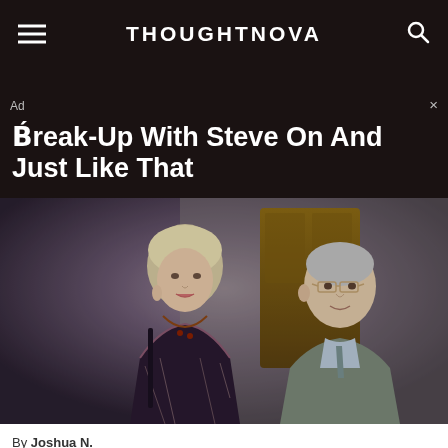THOUGHTNOVA
Ad
Break-Up With Steve On And Just Like That
[Figure (photo): Two people standing together — a woman with short blonde hair wearing a dark patterned top and long necklace, and a man in a grey blazer wearing glasses, both looking to the side against a background of a wooden door/building exterior.]
By Joshua N.